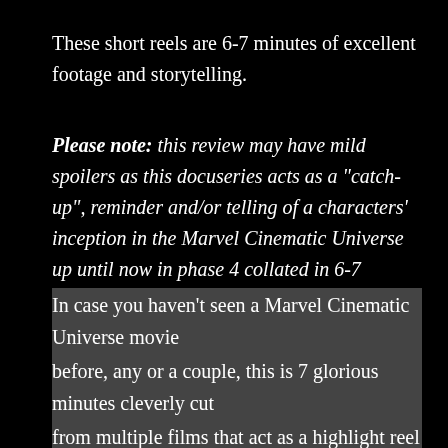These short reels are 6-7 minutes of excellent footage and storytelling.
Please note: this review may have mild spoilers as this docuseries acts as a "catch-up", reminder and/or telling of a characters' inception in the Marvel Cinematic Universe up until now in phase 4 collated in 6-7 minutes.
In case you haven't seen a Marvel Cinematic Universe movie before, any or a couple, this is 7 glorious minutes cleverly cut from multiple films that act as a highlight reel of a character's journey or backstory through the MCU into Phase 4.